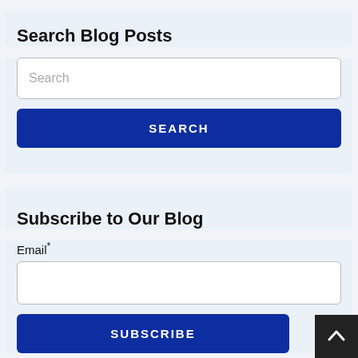Search Blog Posts
Search
SEARCH
Subscribe to Our Blog
Email*
SUBSCRIBE